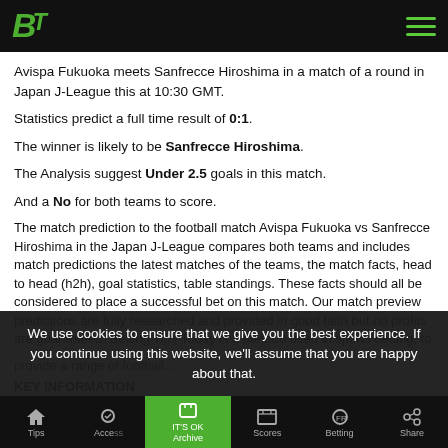BT logo and hamburger menu
Avispa Fukuoka meets Sanfrecce Hiroshima in a match of a round in Japan J-League this at 10:30 GMT.
Statistics predict a full time result of 0:1.
The winner is likely to be Sanfrecce Hiroshima.
The Analysis suggest Under 2.5 goals in this match.
And a No for both teams to score.
The match prediction to the football match Avispa Fukuoka vs Sanfrecce Hiroshima in the Japan J-League compares both teams and includes match predictions the latest matches of the teams, the match facts, head to head (h2h), goal statistics, table standings. These facts should all be considered to place a successful bet on this match. Our match preview predictions are fully researched and provided in good faith but no profits are guaranteed. Betting Tips Today is a method used in sports betting, to pr...
KEY INFORMATION
We use cookies to ensure that we give you the best experience. If you continue using this website, we'll assume that you are happy about that.
Tips | Access | Archive (IT'S OK) | Scores | Betting | Share